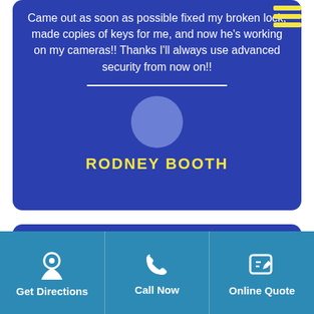Came out as soon as possible fixed my broken lock, made copies of keys for me, and now he's working on my cameras!! Thanks I'll always use advanced security from now on!!
RODNEY BOOTH
[Figure (other): Five gold star rating]
Get Directions
Call Now
Online Quote